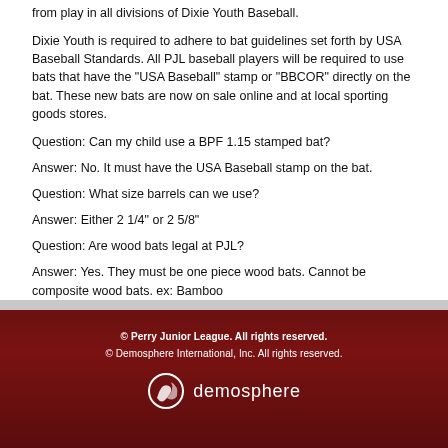from play in all divisions of Dixie Youth Baseball.
Dixie Youth is required to adhere to bat guidelines set forth by USA Baseball Standards.  All PJL baseball players will be required to use bats that have the "USA Baseball" stamp or "BBCOR" directly on the bat.  These new bats are now on sale online and at local sporting goods stores.
Question:  Can my child use a BPF 1.15 stamped bat?
Answer:  No.  It must have the USA Baseball stamp on the bat.
Question: What size barrels can we use?
Answer:  Either 2 1/4" or 2 5/8"
Question:  Are wood bats legal at PJL?
Answer: Yes.  They must be one piece wood bats.  Cannot be composite wood bats. ex:  Bamboo
© Perry Junior League. All rights reserved.
© Demosphere International, Inc. All rights reserved.